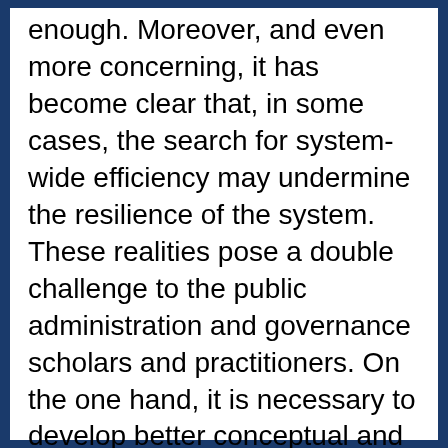enough. Moreover, and even more concerning, it has become clear that, in some cases, the search for system-wide efficiency may undermine the resilience of the system. These realities pose a double challenge to the public administration and governance scholars and practitioners. On the one hand, it is necessary to develop better conceptual and theoretical foundations for thinking about the relationship between efficiency, vulnerability and resilience in public administration and governance. On the other hand, it is necessary to develop in practice, at the